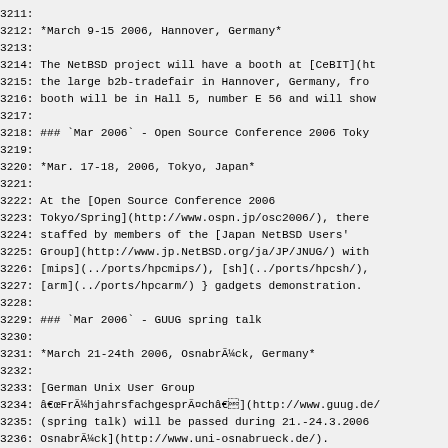3211:
3212: *March 9-15 2006, Hannover, Germany*
3213:
3214: The NetBSD project will have a booth at [CeBIT](ht
3215: the large b2b-tradefair in Hannover, Germany, fro
3216: booth will be in Hall 5, number E 56 and will sho
3217:
3218: ### `Mar 2006` - Open Source Conference 2006 Toky
3219:
3220: *Mar. 17-18, 2006, Tokyo, Japan*
3221:
3222: At the [Open Source Conference 2006
3223: Tokyo/Spring](http://www.ospn.jp/osc2006/), there
3224: staffed by members of the [Japan NetBSD Users'
3225: Group](http://www.jp.NetBSD.org/ja/JP/JNUG/) with
3226: [mips](../ports/hpcmips/), [sh](../ports/hpcsh/),
3227: [arm](../ports/hpcarm/) } gadgets demonstration.
3228:
3229: ### `Mar 2006` - GUUG spring talk
3230:
3231: *March 21-24th 2006, OsnabrÃ¼ck, Germany*
3232:
3233: [German Unix User Group
3234: â€œFrÃ¼hjahrsfachgesprÃ¤châ€](http://www.guug.de
3235: (spring talk) will be passed during 21.-24.3.2006
3236: OsnabrÃ¼ck](http://www.uni-osnabrueck.de/).
3237:
3238: There will be at least one NetBSD-related talk, o
3239: strategies](http://www.guug.de/veranstaltungen/ffg
3240: Interested parties are welcome to coordinate any